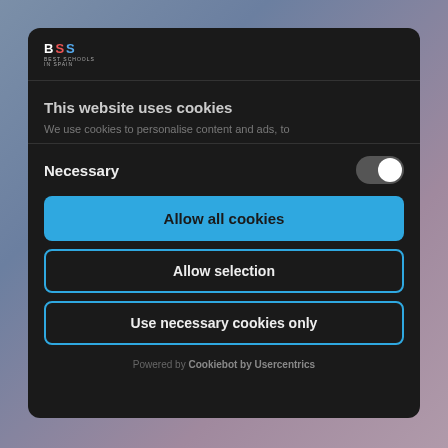[Figure (logo): BSS Best Schools in Spain logo in white text on dark background]
This website uses cookies
We use cookies to personalise content and ads, to
Necessary
Allow all cookies
Allow selection
Use necessary cookies only
Powered by Cookiebot by Usercentrics